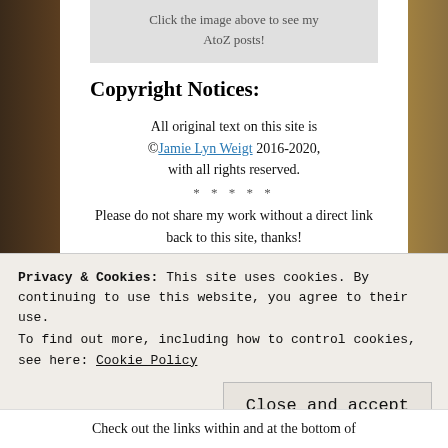Click the image above to see my AtoZ posts!
Copyright Notices:
All original text on this site is ©Jamie Lyn Weigt 2016-2020, with all rights reserved.
* * * * *
Please do not share my work without a direct link back to this site, thanks!
* * * * *
All images used on this site are copyright of the
Privacy & Cookies: This site uses cookies. By continuing to use this website, you agree to their use. To find out more, including how to control cookies, see here: Cookie Policy
Close and accept
Check out the links within and at the bottom of